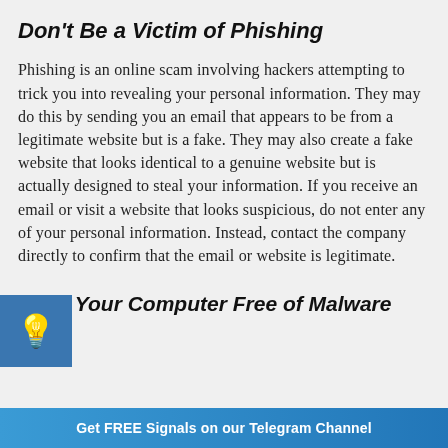Don't Be a Victim of Phishing
Phishing is an online scam involving hackers attempting to trick you into revealing your personal information. They may do this by sending you an email that appears to be from a legitimate website but is a fake. They may also create a fake website that looks identical to a genuine website but is actually designed to steal your information. If you receive an email or visit a website that looks suspicious, do not enter any of your personal information. Instead, contact the company directly to confirm that the email or website is legitimate.
Keep Your Computer Free of Malware
Get FREE Signals on our Telegram Channel